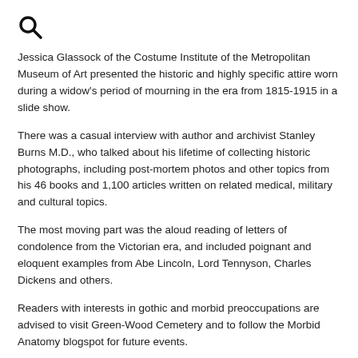[Figure (other): Search magnifying glass icon]
Jessica Glassock of the Costume Institute of the Metropolitan Museum of Art presented the historic and highly specific attire worn during a widow's period of mourning in the era from 1815-1915 in a slide show.
There was a casual interview with author and archivist Stanley Burns M.D., who talked about his lifetime of collecting historic photographs, including post-mortem photos and other topics from his 46 books and 1,100 articles written on related medical, military and cultural topics.
The most moving part was the aloud reading of letters of condolence from the Victorian era, and included poignant and eloquent examples from Abe Lincoln, Lord Tennyson, Charles Dickens and others.
Readers with interests in gothic and morbid preoccupations are advised to visit Green-Wood Cemetery and to follow the Morbid Anatomy blogspot for future events.